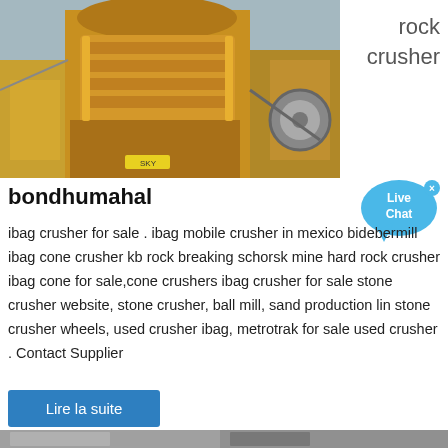[Figure (photo): Photograph of a large yellow cone rock crusher machine at a mining site with rocky terrain in the background]
rock crusher
bondhumahal
ibag crusher for sale . ibag mobile crusher in mexico bidebermill ibag cone crusher kb rock breaking schorsk mine hard rock crusher ibag cone for sale,cone crushers ibag crusher for sale stone crusher website, stone crusher, ball mill, sand production lin stone crusher wheels, used crusher ibag, metrotrak for sale used crusher . Contact Supplier
Lire la suite